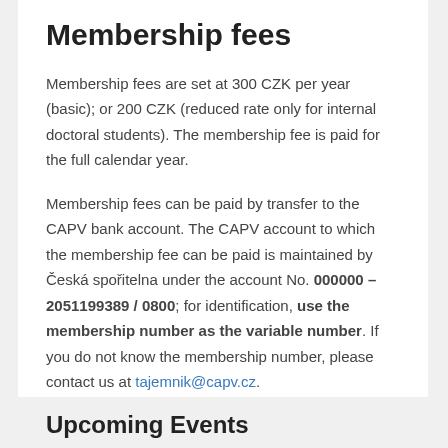Membership fees
Membership fees are set at 300 CZK per year (basic); or 200 CZK (reduced rate only for internal doctoral students). The membership fee is paid for the full calendar year.
Membership fees can be paid by transfer to the CAPV bank account. The CAPV account to which the membership fee can be paid is maintained by Česká spořitelna under the account No. 000000 – 2051199389 / 0800; for identification, use the membership number as the variable number. If you do not know the membership number, please contact us at tajemnik@capv.cz.
The membership fee must always be paid by 31 March of the given year.
Upcoming Events